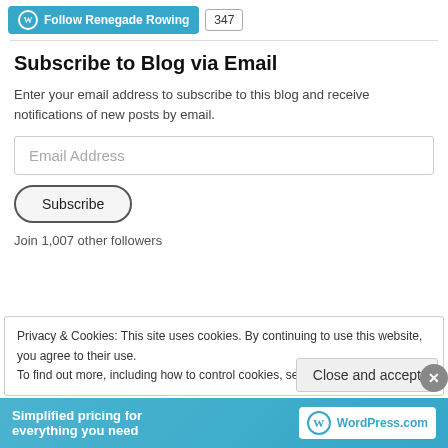[Figure (screenshot): WordPress Follow Renegade Rowing button with follower count badge showing 347]
Subscribe to Blog via Email
Enter your email address to subscribe to this blog and receive notifications of new posts by email.
[Figure (screenshot): Email Address input field]
[Figure (screenshot): Subscribe button with rounded border]
Join 1,007 other followers
Privacy & Cookies: This site uses cookies. By continuing to use this website, you agree to their use.
To find out more, including how to control cookies, see here: Cookie Policy
[Figure (screenshot): Close and accept button and X dismiss button]
[Figure (screenshot): WordPress.com simplified pricing banner at bottom]